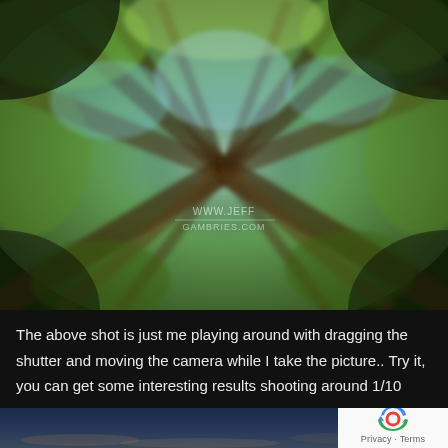[Figure (photo): Motion-blurred photo looking up at tall trees with green foliage and blue sky, with a watermark/logo in the center. The image uses a zoom/drag shutter effect creating radial blur of tree trunks converging to the center.]
The above shot is just me playing around with dragging the shutter and moving the camera while I take the picture.. Try it, you can get some interesting results shooting around 1/10 sec.
[Figure (photo): Partial photo visible at the bottom of the page showing a dark blue twilight sky with faint clouds near the horizon.]